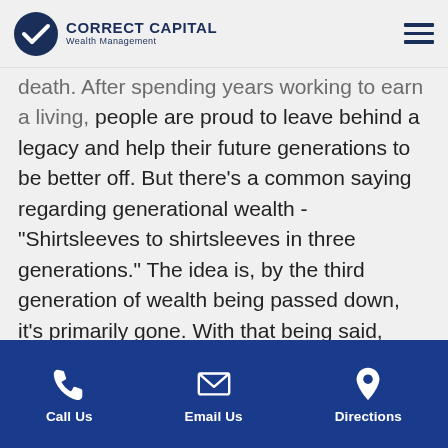Correct Capital Wealth Management
death. After spending years working to earn a living, people are proud to leave behind a legacy and help their future generations to be better off. But there's a common saying regarding generational wealth - "Shirtsleeves to shirtsleeves in three generations." The idea is, by the third generation of wealth being passed down, it's primarily gone. With that being said, there are things you can do now to proactively protect your wealth and your heirs. Developing a generational wealth plan, communicating with your loved ones and working with a team of professionals can give your wealth a better chance at lasting for
Call Us | Email Us | Directions